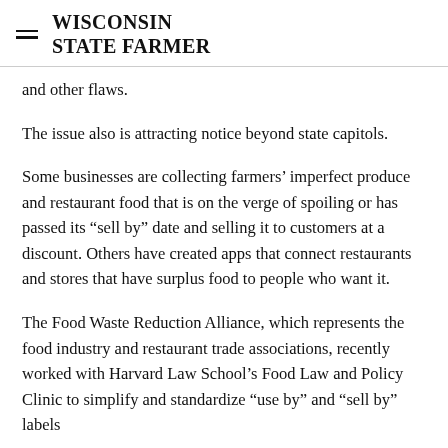WISCONSIN STATE FARMER
and other flaws.
The issue also is attracting notice beyond state capitols.
Some businesses are collecting farmers’ imperfect produce and restaurant food that is on the verge of spoiling or has passed its “sell by” date and selling it to customers at a discount. Others have created apps that connect restaurants and stores that have surplus food to people who want it.
The Food Waste Reduction Alliance, which represents the food industry and restaurant trade associations, recently worked with Harvard Law School’s Food Law and Policy Clinic to simplify and standardize “use by” and “sell by” labels